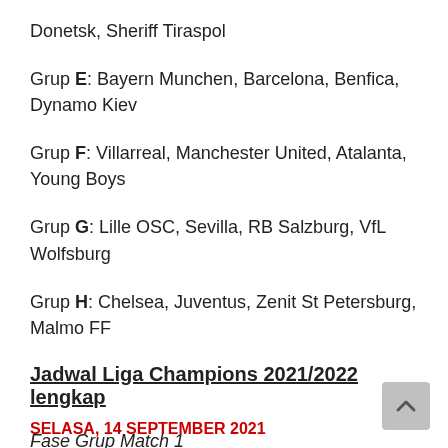Donetsk, Sheriff Tiraspol
Grup E: Bayern Munchen, Barcelona, Benfica, Dynamo Kiev
Grup F: Villarreal, Manchester United, Atalanta, Young Boys
Grup G: Lille OSC, Sevilla, RB Salzburg, VfL Wolfsburg
Grup H: Chelsea, Juventus, Zenit St Petersburg, Malmo FF
Jadwal Liga Champions 2021/2022 lengkap
Fase Grup Match 1
SELASA, 14 SEPTEMBER 2021